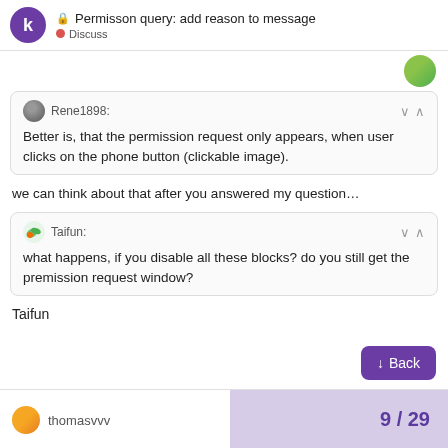Permisson query: add reason to message — Discuss
Better is, that the permission request only appears, when user clicks on the phone button (clickable image).
we can think about that after you answered my question…
what happens, if you disable all these blocks? do you still get the premission request window?
Taifun
9 / 29